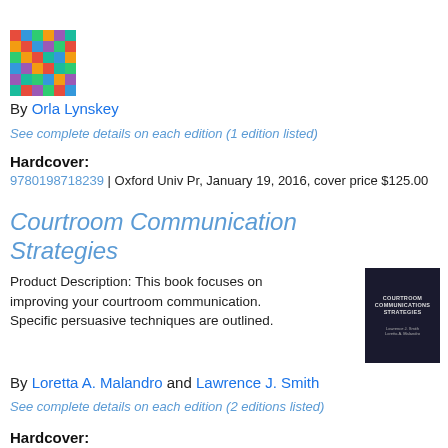[Figure (illustration): Colorful block/book cover thumbnail image]
By Orla Lynskey
See complete details on each edition (1 edition listed)
Hardcover:
9780198718239 | Oxford Univ Pr, January 19, 2016, cover price $125.00
Courtroom Communication Strategies
Product Description: This book focuses on improving your courtroom communication. Specific persuasive techniques are outlined.
[Figure (photo): Book cover of Courtroom Communication Strategies — dark cover with title and author names]
By Loretta A. Malandro and Lawrence J. Smith
See complete details on each edition (2 editions listed)
Hardcover:
9780930273071 | Kluwer Law Book Pub, October 1, 1987, cover price $80.00 |